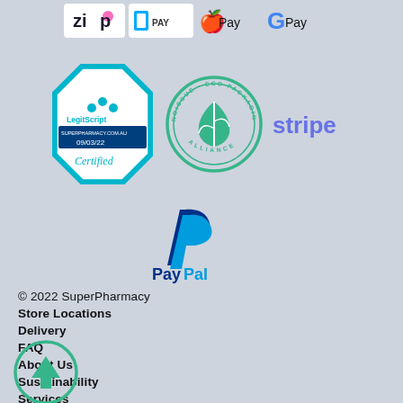[Figure (logo): Payment logos row: Zip, Latitude Pay, Apple Pay, Google Pay]
[Figure (logo): Trust badges: LegitScript Certified (SUPERPHARMACY.COM.AU 09/03/22), Noissue Eco Packaging Alliance, Stripe logo]
[Figure (logo): PayPal logo]
© 2022 SuperPharmacy
Store Locations
Delivery
FAQ
About Us
Sustainability
Services
Returns
Privacy Policy
Terms & Conditions
1300 463 342